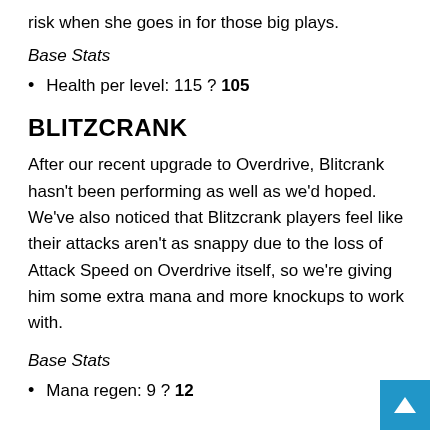risk when she goes in for those big plays.
Base Stats
Health per level: 115 ? 105
BLITZCRANK
After our recent upgrade to Overdrive, Blitcrank hasn't been performing as well as we'd hoped. We've also noticed that Blitzcrank players feel like their attacks aren't as snappy due to the loss of Attack Speed on Overdrive itself, so we're giving him some extra mana and more knockups to work with.
Base Stats
Mana regen: 9 ? 12